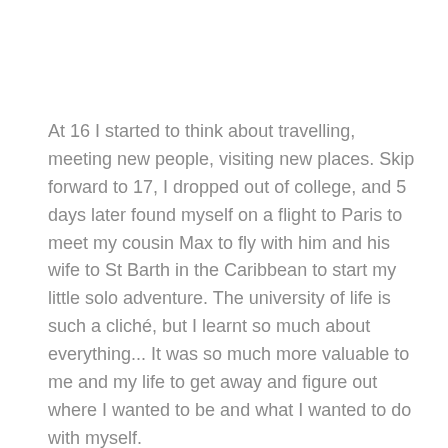At 16 I started to think about travelling, meeting new people, visiting new places. Skip forward to 17, I dropped out of college, and 5 days later found myself on a flight to Paris to meet my cousin Max to fly with him and his wife to St Barth in the Caribbean to start my little solo adventure. The university of life is such a cliché, but I learnt so much about everything... It was so much more valuable to me and my life to get away and figure out where I wanted to be and what I wanted to do with myself.
Working for a family run store, who had their own line, all made in LA with the most amazing organic fabrics... (literally the softest t-shirts I have ever worn in my life) Cottons, silks, linens, amazing Italian swimwear, it was all just so beautifully made. They spent more on sourcing quality materials and having the product